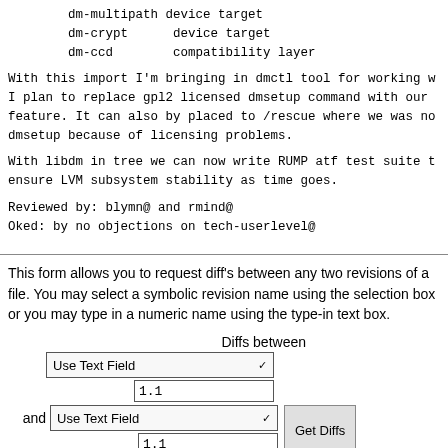dm-multipath device target
dm-crypt    device target
dm-ccd      compatibility layer
With this import I'm bringing in dmctl tool for working w... I plan to replace gpl2 licensed dmsetup command with our feature. It can also by placed to /rescue where we was no... dmsetup because of licensing problems.
With libdm in tree we can now write RUMP atf test suite t... ensure LVM subsystem stability as time goes.
Reviewed by: blymn@ and rmind@
Oked: by no objections on tech-userlevel@
This form allows you to request diff's between any two revisions of a file. You may select a symbolic revision name using the selection box or you may type in a numeric name using the type-in text box.
[Figure (screenshot): Web form UI with 'Diffs between' label, two dropdown selects labeled 'Use Text Field' with checkmark, two text input fields showing '1.1', an 'and' label, and a 'Get Diffs' button]